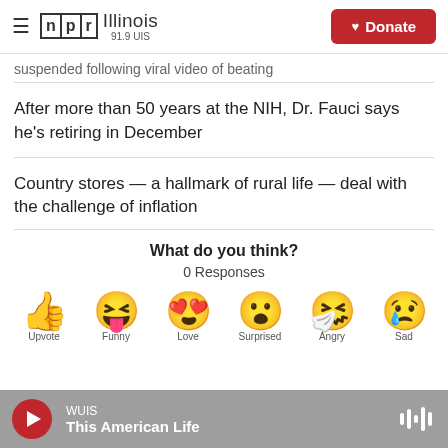NPR Illinois 91.9 UIS — Donate
suspended following viral video of beating
After more than 50 years at the NIH, Dr. Fauci says he's retiring in December
Country stores — a hallmark of rural life — deal with the challenge of inflation
What do you think?
0 Responses
[Figure (illustration): Row of six emoji reaction icons: thumbs up, laughing face with tongue out, heart-eyes face, surprised face, sick/crying face, sad face with tear. Labels partially visible: Upvote, Funny, Love, Surprised, Angry, Sad]
WUIS — This American Life (audio player bar)